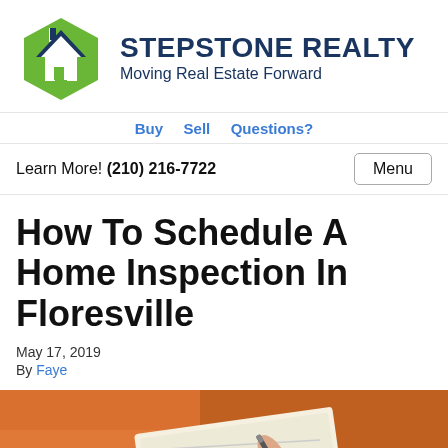[Figure (logo): StepStone Realty logo: green hexagon with white house icon, beside bold dark blue text 'StepStone Realty' and tagline 'Moving Real Estate Forward']
Buy  Sell  Questions?
Learn More! (210) 216-7722
Menu
How To Schedule A Home Inspection In Floresville
May 17, 2019
By Faye
[Figure (photo): Person in orange sweater writing in a notebook with a pen, viewed from above at an angle.]